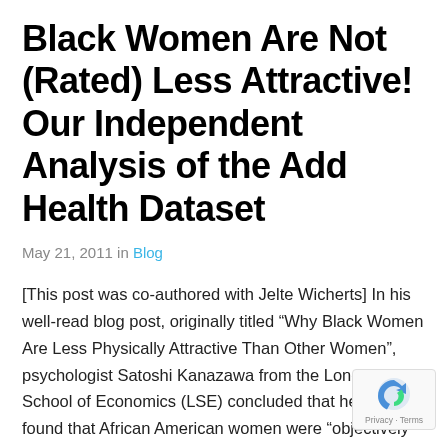Black Women Are Not (Rated) Less Attractive! Our Independent Analysis of the Add Health Dataset
May 21, 2011 in Blog
[This post was co-authored with Jelte Wicherts] In his well-read blog post, originally titled “Why Black Women Are Less Physically Attractive Than Other Women”, psychologist Satoshi Kanazawa from the London School of Economics (LSE) concluded that he had found that African American women were “objectively” less attractive than European American, Asian American, Native American [...]